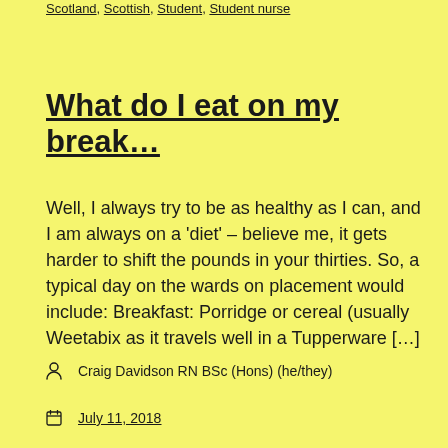Scotland, Scottish, Student, Student nurse
What do I eat on my break…
Well, I always try to be as healthy as I can, and I am always on a 'diet' – believe me, it gets harder to shift the pounds in your thirties. So, a typical day on the wards on placement would include: Breakfast: Porridge or cereal (usually Weetabix as it travels well in a Tupperware […]
Craig Davidson RN BSc (Hons) (he/they)
July 11, 2018